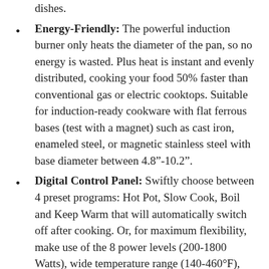dishes.
Energy-Friendly: The powerful induction burner only heats the diameter of the pan, so no energy is wasted. Plus heat is instant and evenly distributed, cooking your food 50% faster than conventional gas or electric cooktops. Suitable for induction-ready cookware with flat ferrous bases (test with a magnet) such as cast iron, enameled steel, or magnetic stainless steel with base diameter between 4.8"-10.2".
Digital Control Panel: Swiftly choose between 4 preset programs: Hot Pot, Slow Cook, Boil and Keep Warm that will automatically switch off after cooking. Or, for maximum flexibility, make use of the 8 power levels (200-1800 Watts), wide temperature range (140-460°F), and handy extra-long 4 hour digital timer. Includes durable blade fan for overheat protection.